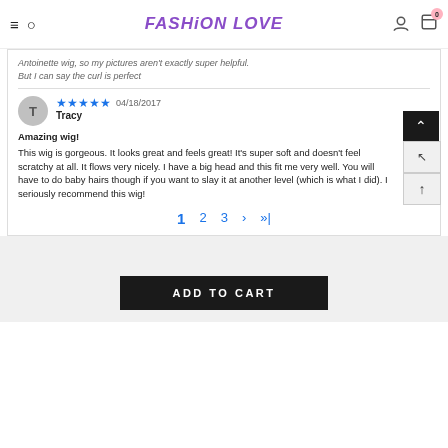FASHION LOVE
Antoinette wig, so my pictures aren't exactly super helpful. But I can say the curl is perfect
Tracy  ★★★★★  04/18/2017
Amazing wig!
This wig is gorgeous. It looks great and feels great! It's super soft and doesn't feel scratchy at all. It flows very nicely. I have a big head and this fit me very well. You will have to do baby hairs though if you want to slay it at another level (which is what I did). I seriously recommend this wig!
1  2  3  ›  »|
ADD TO CART